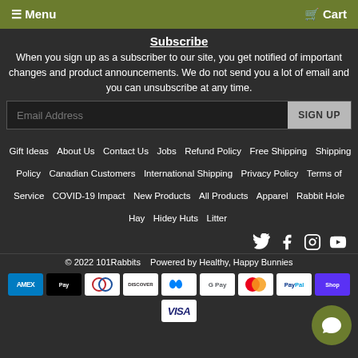☰ Menu   Cart
Subscribe
When you sign up as a subscriber to our site, you get notified of important changes and product announcements. We do not send you a lot of email and you can unsubscribe at any time.
Email Address  SIGN UP
Gift Ideas | About Us | Contact Us | Jobs | Refund Policy | Free Shipping | Shipping Policy | Canadian Customers | International Shipping | Privacy Policy | Terms of Service | COVID-19 Impact | New Products | All Products | Apparel | Rabbit Hole Hay | Hidey Huts | Litter
[Figure (other): Social media icons: Twitter, Facebook, Instagram, YouTube]
© 2022 101Rabbits   Powered by Healthy, Happy Bunnies
[Figure (other): Payment method icons: AMEX, Apple Pay, Diners Club, Discover, Meta Pay, Google Pay, Mastercard, PayPal, Shop Pay, Visa]